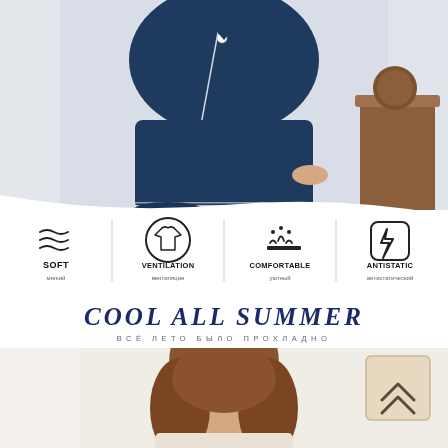[Figure (photo): Woman wearing navy blue satin pajama set (short-sleeve shirt and shorts with white piping trim), standing against a white curtained background with a wooden side table visible]
[Figure (infographic): Four feature icons in a row with dividers: SOFT (мягкий) - wave lines icon; VENTILATION (вентиляция) - shirt icon in circle; COMFORTABLE (уютный) - comfort/heat icon; ANTISTATIC (антистатический) - lightning bolt in rounded square]
COOL ALL SUMMER
ВСЁ ЛЕТО БЫЛО ПРОХЛАДНО
[Figure (photo): Woman with brown hair, lower portion of face visible, light background, with a decorative arrow chevron symbol in a beige box on the right side]